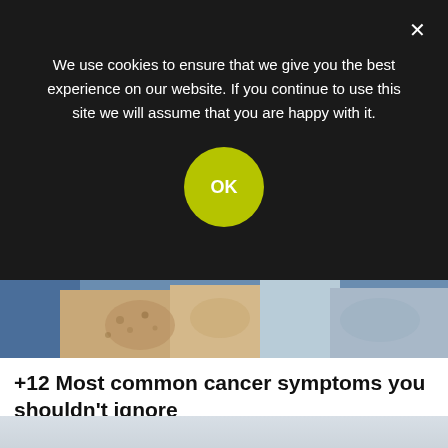We use cookies to ensure that we give you the best experience on our website. If you continue to use this site we will assume that you are happy with it.
[Figure (screenshot): OK button in green/yellow-green circle on dark cookie consent overlay with X close button]
[Figure (photo): Partial photo of hands/arms with skin condition visible, top of article]
+12 Most common cancer symptoms you shouldn't ignore
CANCER SYMPTOMS
[Figure (illustration): Blue digital illustration of human head profile with glowing brain and neural connections highlighted in blue and pink light]